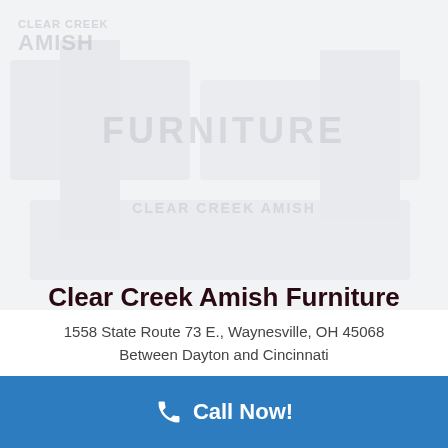[Figure (photo): Faded background image of furniture store interior or products, very washed out/light gray]
Clear Creek Amish Furniture
1558 State Route 73 E., Waynesville, OH 45068
Between Dayton and Cincinnati
Call Now!